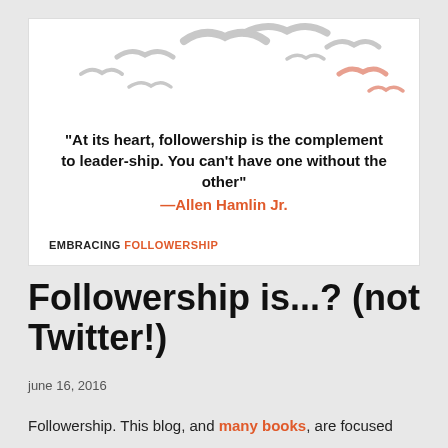[Figure (illustration): A white card with decorative bird silhouettes (in light gray and pale peach) flying across the top portion. Below the birds is a bold quote: "At its heart, followership is the complement to leadership. You can't have one without the other" attributed to —Allen Hamlin Jr. in orange. At the bottom left of the card, text reads EMBRACING FOLLOWERSHIP with FOLLOWERSHIP in orange.]
Followership is...? (not Twitter!)
june 16, 2016
Followership. This blog, and many books, are focused